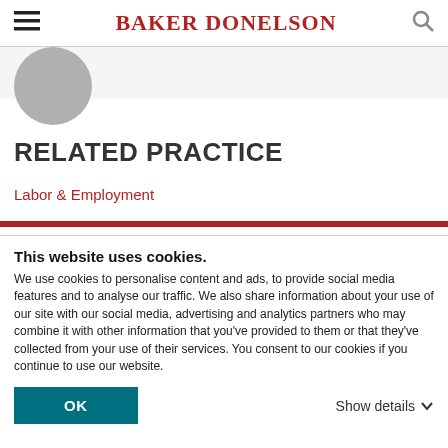BAKER DONELSON
[Figure (illustration): Circular gray avatar/profile image, partially visible at top left]
RELATED PRACTICE
Labor & Employment
This website uses cookies. We use cookies to personalise content and ads, to provide social media features and to analyse our traffic. We also share information about your use of our site with our social media, advertising and analytics partners who may combine it with other information that you've provided to them or that they've collected from your use of their services. You consent to our cookies if you continue to use our website.
OK
Show details